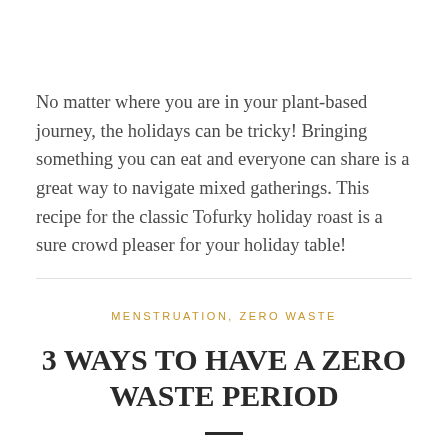No matter where you are in your plant-based journey, the holidays can be tricky! Bringing something you can eat and everyone can share is a great way to navigate mixed gatherings. This recipe for the classic Tofurky holiday roast is a sure crowd pleaser for your holiday table!
MENSTRUATION, ZERO WASTE
3 WAYS TO HAVE A ZERO WASTE PERIOD